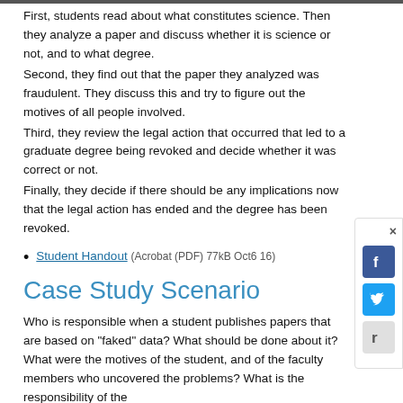First, students read about what constitutes science. Then they analyze a paper and discuss whether it is science or not, and to what degree.
Second, they find out that the paper they analyzed was fraudulent. They discuss this and try to figure out the motives of all people involved.
Third, they review the legal action that occurred that led to a graduate degree being revoked and decide whether it was correct or not.
Finally, they decide if there should be any implications now that the legal action has ended and the degree has been revoked.
Student Handout (Acrobat (PDF) 77kB Oct6 16)
Case Study Scenario
Who is responsible when a student publishes papers that are based on "faked" data? What should be done about it? What were the motives of the student, and of the faculty members who uncovered the problems? What is the responsibility of the University in such cases? What should the University do? The